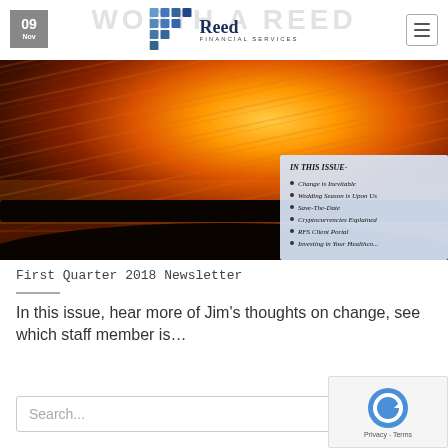WORTH A REED — Reed Financial Services
[Figure (screenshot): Website screenshot showing Reed Financial Services header with logo, navigation, and date box showing '09 / Nov'. Background watermark text 'WORTH A REED' in grey. Hamburger menu icon top right.]
[Figure (photo): Hero banner photo of a dramatic sunset over water with orange and red sky with cloud streaks, dark silhouette of treeline/shoreline at bottom. Overlay box 'IN THIS ISSUE' listing: Change is Inevitable, Wedding Season is Upon Us, Save-The-Date, Cryptocurrencies Explained, RFS Client Portal, Investing in Your Healthco...]
First Quarter 2018 Newsletter
In this issue, hear more of Jim's thoughts on change, see which staff member is...
Search...